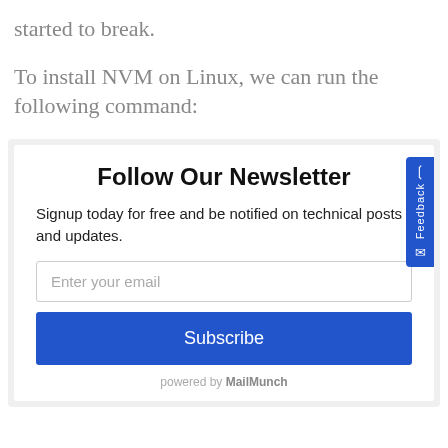started to break.
To install NVM on Linux, we can run the following command:
[Figure (other): Newsletter signup widget with title 'Follow Our Newsletter', description text, email input field, Subscribe button, and MailMunch branding. Includes a blue Feedback tab on the right side.]